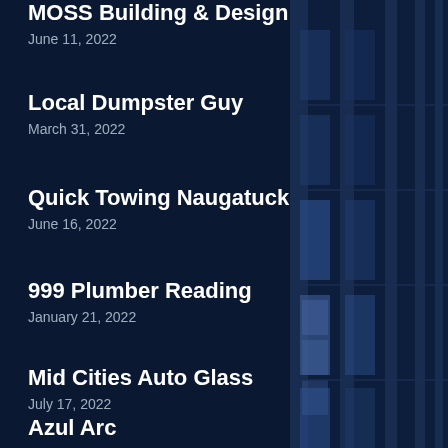MOSS Building & Design
June 11, 2022
Local Dumpster Guy
March 31, 2022
Quick Towing Naugatuck
June 16, 2022
999 Plumber Reading
January 21, 2022
Mid Cities Auto Glass
July 17, 2022
Azul Arc
July 12, 2022